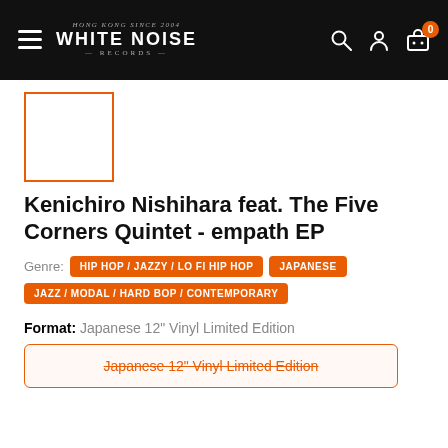WHITE NOISE RECORDS
[Figure (other): Orange-bordered square thumbnail placeholder for album art]
Kenichiro Nishihara feat. The Five Corners Quintet - empath EP
Genre: HIP HOP / JAZZY / LO FI HIP HOP | JAPANESE | JAZZ / MODAL / HARD BOP / CONTEMPORARY
Format: Japanese 12" Vinyl Limited Edition
Japanese 12" Vinyl Limited Edition (strikethrough button)